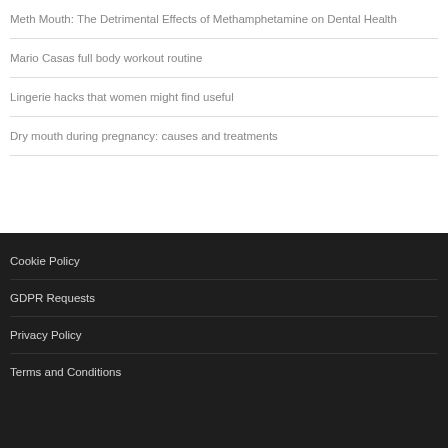Meth Mouth: The Detrimental Effects of Methamphetamine on Dental Health
Mario Casas full body workout routine
Lingerie hacks that women might find useful
Dry mouth during pregnancy: causes and treatments
Cookie Policy
GDPR Requests
Privacy Policy
Terms and Conditions